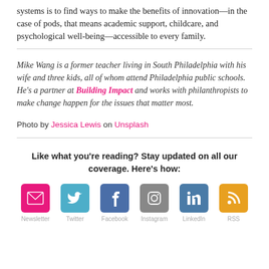systems is to find ways to make the benefits of innovation—in the case of pods, that means academic support, childcare, and psychological well-being—accessible to every family.
Mike Wang is a former teacher living in South Philadelphia with his wife and three kids, all of whom attend Philadelphia public schools. He's a partner at Building Impact and works with philanthropists to make change happen for the issues that matter most.
Photo by Jessica Lewis on Unsplash
Like what you're reading? Stay updated on all our coverage. Here's how:
[Figure (infographic): Row of six social media icons: Newsletter (pink envelope), Twitter (blue bird), Facebook (blue f), Instagram (gray camera), LinkedIn (blue in), RSS (orange feed). Each has a label below.]